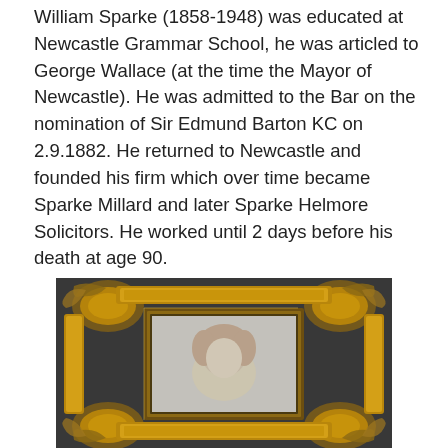William Sparke (1858-1948) was educated at Newcastle Grammar School, he was articled to George Wallace (at the time the Mayor of Newcastle). He was admitted to the Bar on the nomination of Sir Edmund Barton KC on 2.9.1882. He returned to Newcastle and founded his firm which over time became Sparke Millard and later Sparke Helmore Solicitors. He worked until 2 days before his death at age 90.
[Figure (photo): A portrait photograph displayed in an ornate gold baroque-style picture frame, set against a dark grey background. The portrait shows a person with light-colored hair.]